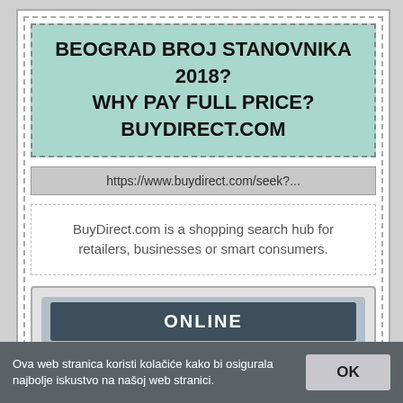BEOGRAD BROJ STANOVNIKA 2018? WHY PAY FULL PRICE? BUYDIRECT.COM
https://www.buydirect.com/seek?...
BuyDirect.com is a shopping search hub for retailers, businesses or smart consumers.
ONLINE
PREGLED
POGLED
Ova web stranica koristi kolačiće kako bi osigurala najbolje iskustvo na našoj web stranici.
OK